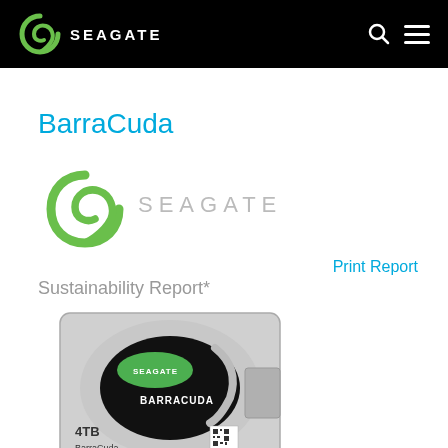Seagate navigation bar with logo, search, and menu icons
BarraCuda
[Figure (logo): Seagate logo — spiral S symbol in green with SEAGATE wordmark in gray]
Print Report
Sustainability Report*
[Figure (photo): Seagate BarraCuda 4TB hard disk drive (ST4000DM004) showing top label with Seagate logo, BarraCuda branding, and QR code]